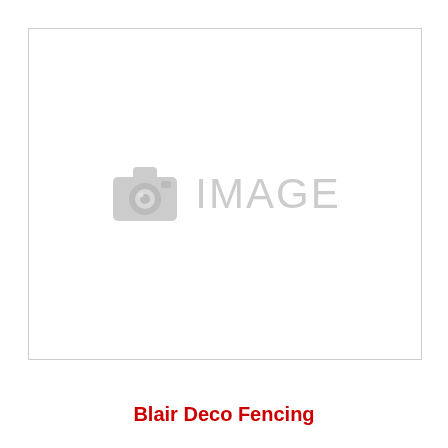[Figure (photo): Image placeholder with camera icon and the word IMAGE in light gray, inside a bordered rectangle]
Blair Deco Fencing